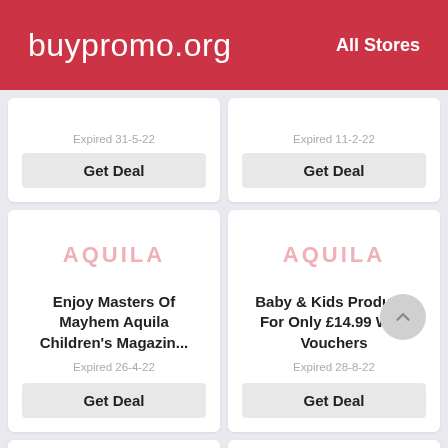buypromo.org   All Stores
Expired 31-5-22
Get Deal
Expired 11-2-22
Get Deal
[Figure (logo): AQUILA logo in pink/rose text]
Enjoy Masters Of Mayhem Aquila Children's Magazin...
Expired 26-4-22
Get Deal
[Figure (logo): AQUILA logo in pink/rose text]
Baby & Kids Products For Only £14.99 With Vouchers
Expired 28-8-22
Get Deal